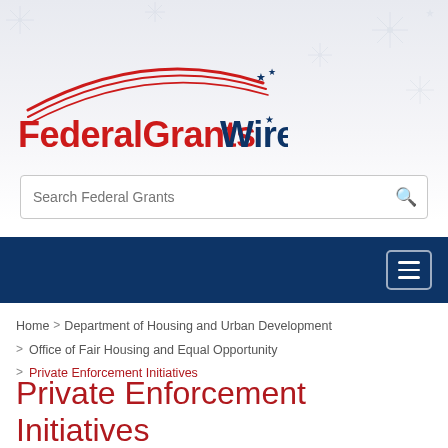[Figure (logo): FederalGrantsWire logo with red swoosh and blue text]
Search Federal Grants
[Figure (screenshot): Dark blue navigation bar with hamburger menu button]
Home > Department of Housing and Urban Development > Office of Fair Housing and Equal Opportunity > Private Enforcement Initiatives
Private Enforcement Initiatives